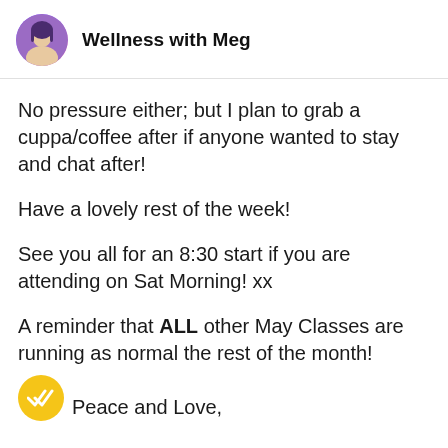Wellness with Meg
No pressure either; but I plan to grab a cuppa/coffee after if anyone wanted to stay and chat after!
Have a lovely rest of the week!
See you all for an 8:30 start if you are attending on Sat Morning! xx
A reminder that ALL other May Classes are running as normal the rest of the month!
Peace and Love,